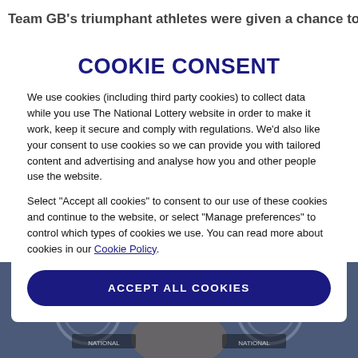Team GB's triumphant athletes were given a chance to
COOKIE CONSENT
We use cookies (including third party cookies) to collect data while you use The National Lottery website in order to make it work, keep it secure and comply with regulations. We'd also like your consent to use cookies so we can provide you with tailored content and advertising and analyse how you and other people use the website.
Select "Accept all cookies" to consent to our use of these cookies and continue to the website, or select "Manage preferences" to control which types of cookies we use. You can read more about cookies in our Cookie Policy.
ACCEPT ALL COOKIES
[Figure (photo): Background photo showing a person at what appears to be a National Lottery event, with lottery logos visible]